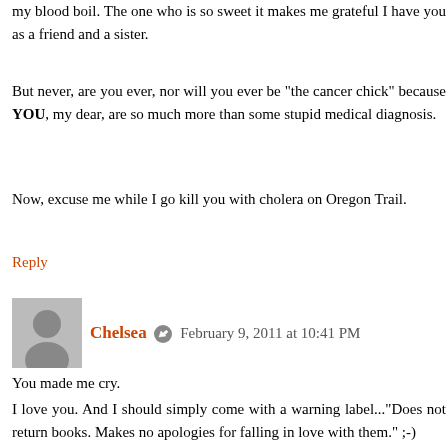my blood boil. The one who is so sweet it makes me grateful I have you as a friend and a sister.
But never, are you ever, nor will you ever be "the cancer chick" because YOU, my dear, are so much more than some stupid medical diagnosis.
Now, excuse me while I go kill you with cholera on Oregon Trail.
Reply
Chelsea  February 9, 2011 at 10:41 PM
You made me cry.
I love you. And I should simply come with a warning label..."Does not return books. Makes no apologies for falling in love with them." ;-)
Reply